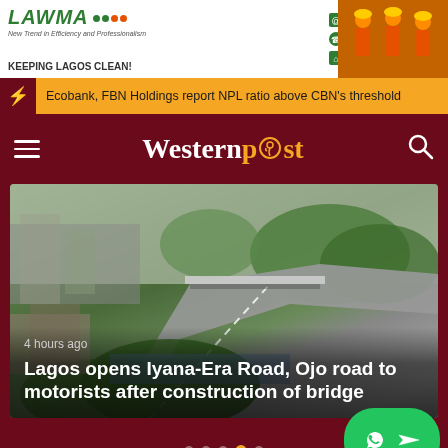[Figure (photo): LAWMA advertisement banner with logo, tagline 'KEEPING LAGOS CLEAN!', contact info, and workers in orange uniforms]
Ecobank, FBN Holdings report NPL ratio above CBN's threshold
Western post
[Figure (photo): Aerial view of Iyana-Era Road, Ojo Lagos showing newly constructed bridge with people and vehicles on road surrounded by vegetation and urban buildings]
4 hours ago
Lagos opens Iyana-Era Road, Ojo road to motorists after construction of bridge